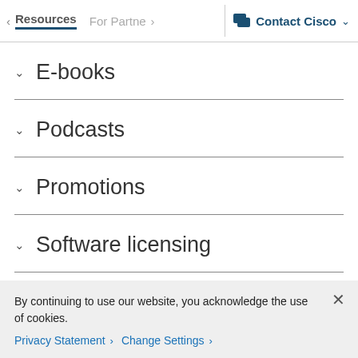< Resources  For Partners >  Contact Cisco v
v E-books
v Podcasts
v Promotions
v Software licensing
Support
By continuing to use our website, you acknowledge the use of cookies.
Privacy Statement >  Change Settings >